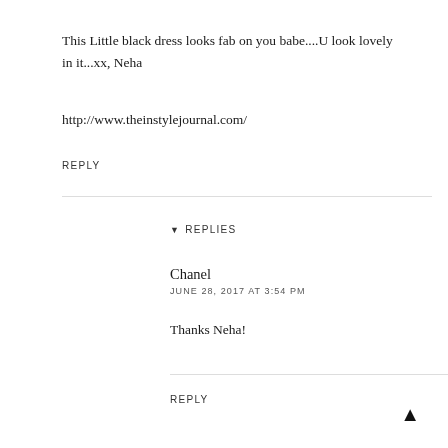This Little black dress looks fab on you babe....U look lovely in it...xx, Neha
http://www.theinstylejournal.com/
REPLY
▾ REPLIES
Chanel
JUNE 28, 2017 AT 3:54 PM
Thanks Neha!
REPLY